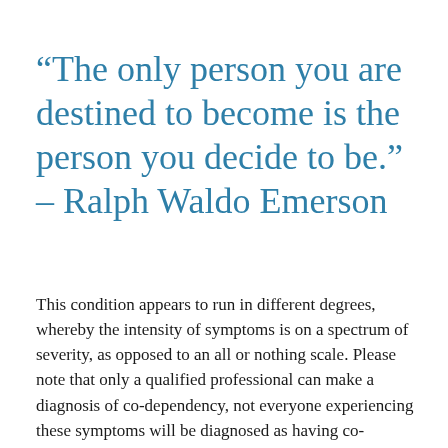“The only person you are destined to become is the person you decide to be.” – Ralph Waldo Emerson
This condition appears to run in different degrees, whereby the intensity of symptoms is on a spectrum of severity, as opposed to an all or nothing scale. Please note that only a qualified professional can make a diagnosis of co-dependency, not everyone experiencing these symptoms will be diagnosed as having co-dependent tendencies.